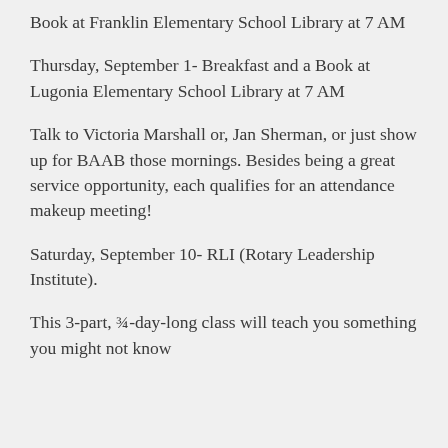Book at Franklin Elementary School Library at 7 AM
Thursday, September 1- Breakfast and a Book at Lugonia Elementary School Library at 7 AM
Talk to Victoria Marshall or, Jan Sherman, or just show up for BAAB those mornings. Besides being a great service opportunity, each qualifies for an attendance makeup meeting!
Saturday, September 10- RLI (Rotary Leadership Institute).
This 3-part, ¾-day-long class will teach you something you might not know